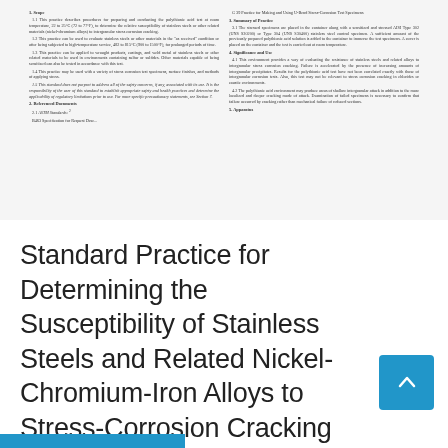[Figure (screenshot): Scanned page of ASTM standard document showing sections 1 (Scope), 2 (Referenced Documents), G 39 Practice reference, 3 (Summary of Practice), 4 (Significance and Use), and 5 (Apparatus) in two-column layout with small serif text.]
Standard Practice for Determining the Susceptibility of Stainless Steels and Related Nickel-Chromium-Iron Alloys to Stress-Corrosion Cracking in Polythionic Acids1 This standard is issued under the ...